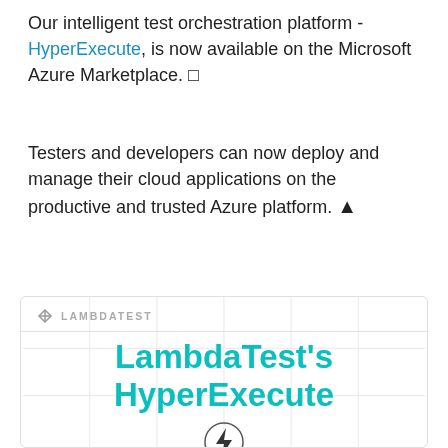Our intelligent test orchestration platform - HyperExecute, is now available on the Microsoft Azure Marketplace. 🔲
Testers and developers can now deploy and manage their cloud applications on the productive and trusted Azure platform. ☁
[Figure (logo): LambdaTest logo with text 'LAMBDATEST' in gray, followed by a card showing 'LambdaTest's HyperExecute' in teal bold text, a lightning bolt icon in a circle, and the text 'is now available on the' partially visible]